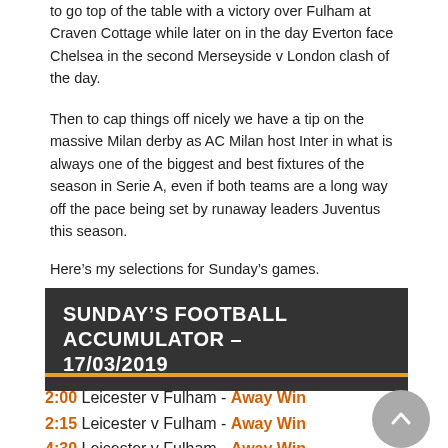to go top of the table with a victory over Fulham at Craven Cottage while later on in the day Everton face Chelsea in the second Merseyside v London clash of the day.
Then to cap things off nicely we have a tip on the massive Milan derby as AC Milan host Inter in what is always one of the biggest and best fixtures of the season in Serie A, even if both teams are a long way off the pace being set by runaway leaders Juventus this season.
Here's my selections for Sunday's games.
SUNDAY'S FOOTBALL ACCUMULATOR – 17/03/2019
2:00 Leicester v Fulham - Away Win
2:15 Leicester v Fulham - Away Win
4:30 Leicester v Fulham - Away Win
7:00 Leicester v Fulham - ...